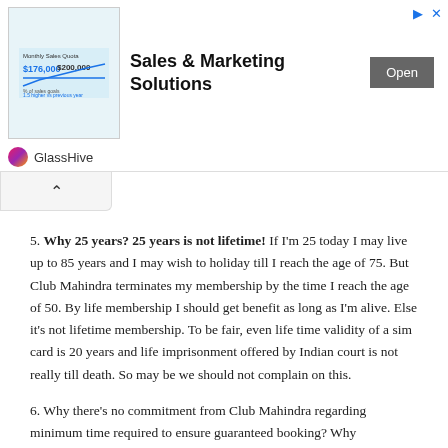[Figure (screenshot): GlassHive Sales & Marketing Solutions advertisement banner with chart image, Open button, and GlassHive logo]
5. Why 25 years? 25 years is not lifetime! If I'm 25 today I may live up to 85 years and I may wish to holiday till I reach the age of 75. But Club Mahindra terminates my membership by the time I reach the age of 50. By life membership I should get benefit as long as I'm alive. Else it's not lifetime membership. To be fair, even life time validity of a sim card is 20 years and life imprisonment offered by Indian court is not really till death. So may be we should not complain on this.
6. Why there's no commitment from Club Mahindra regarding minimum time required to ensure guaranteed booking? Why